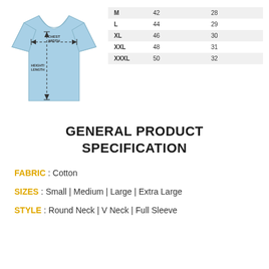[Figure (illustration): Light blue t-shirt diagram with dashed arrows indicating chest width and height/length measurements, with labels CHEST WIDTH and HEIGHT/LENGTH]
|  |  |  |
| --- | --- | --- |
| M | 42 | 28 |
| L | 44 | 29 |
| XL | 46 | 30 |
| XXL | 48 | 31 |
| XXXL | 50 | 32 |
GENERAL PRODUCT SPECIFICATION
FABRIC : Cotton
SIZES : Small | Medium | Large | Extra Large
STYLE : Round Neck | V Neck | Full Sleeve